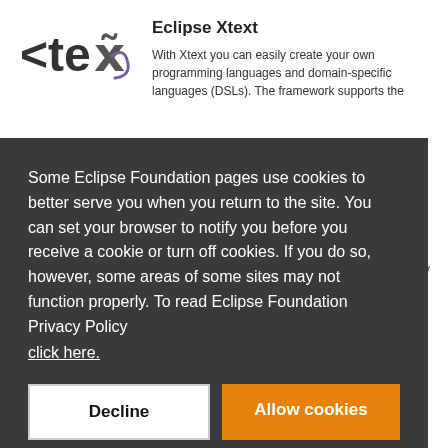[Figure (logo): Xtext logo showing stylized 'xtext' text with angular brackets and a curved stroke]
Eclipse Xtext
With Xtext you can easily create your own programming languages and domain-specific languages (DSLs). The framework supports the
Some Eclipse Foundation pages use cookies to better serve you when you return to the site. You can set your browser to notify you before you receive a cookie or turn off cookies. If you do so, however, some areas of some sites may not function properly. To read Eclipse Foundation Privacy Policy
click here.
Decline
Allow cookies
on the Eclipse platform, compatible